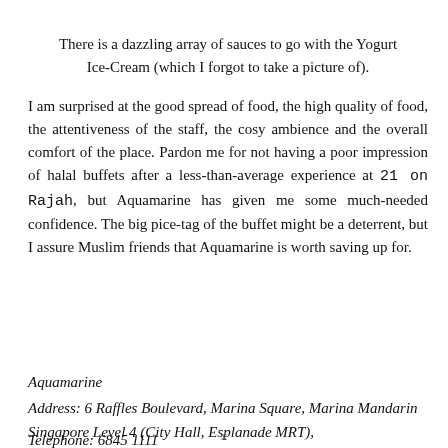There is a dazzling array of sauces to go with the Yogurt Ice-Cream (which I forgot to take a picture of). I am surprised at the good spread of food, the high quality of food, the attentiveness of the staff, the cosy ambience and the overall comfort of the place. Pardon me for not having a poor impression of halal buffets after a less-than-average experience at 21 on Rajah, but Aquamarine has given me some much-needed confidence. The big pice-tag of the buffet might be a deterrent, but I assure Muslim friends that Aquamarine is worth saving up for.
Aquamarine
Address: 6 Raffles Boulevard, Marina Square, Marina Mandarin Singapore Level 4 (City Hall, Esplanade MRT),
Telephone: 6845 1111